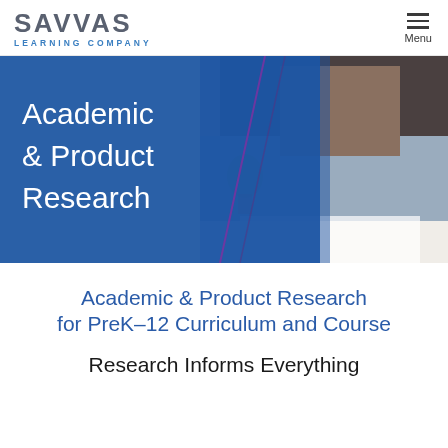SAVVAS LEARNING COMPANY
[Figure (photo): Hero banner with blue geometric background and white text 'Academic & Product Research' overlaid on a photo of a man wearing headphones and glasses, writing in a notebook at a desk]
Academic & Product Research for PreK–12 Curriculum and Courses
Research Informs Everything